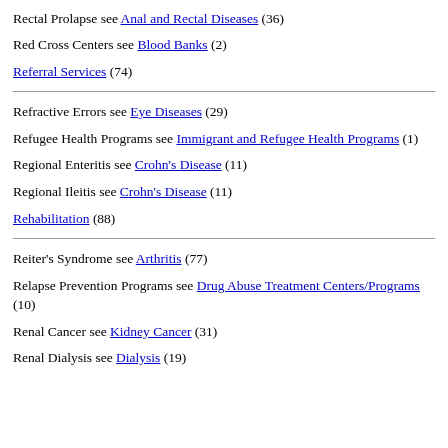Rectal Diseases see Anal and Rectal Diseases (36)
Rectal Prolapse see Anal and Rectal Diseases (36)
Red Cross Centers see Blood Banks (2)
Referral Services (74)
Refractive Errors see Eye Diseases (29)
Refugee Health Programs see Immigrant and Refugee Health Programs (1)
Regional Enteritis see Crohn's Disease (11)
Regional Ileitis see Crohn's Disease (11)
Rehabilitation (88)
Reiter's Syndrome see Arthritis (77)
Relapse Prevention Programs see Drug Abuse Treatment Centers/Programs (10)
Renal Cancer see Kidney Cancer (31)
Renal Dialysis see Dialysis (19)